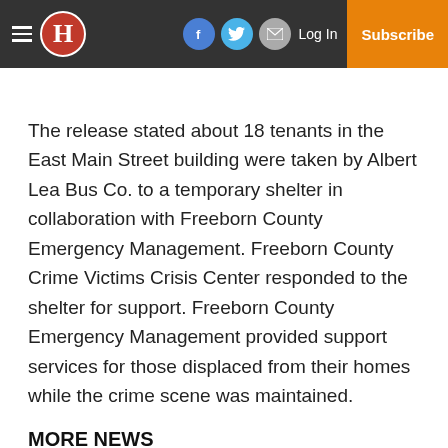H | Log In | Subscribe
The release stated about 18 tenants in the East Main Street building were taken by Albert Lea Bus Co. to a temporary shelter in collaboration with Freeborn County Emergency Management. Freeborn County Crime Victims Crisis Center responded to the shelter for support. Freeborn County Emergency Management provided support services for those displaced from their homes while the crime scene was maintained.
MORE NEWS
Positive relationships